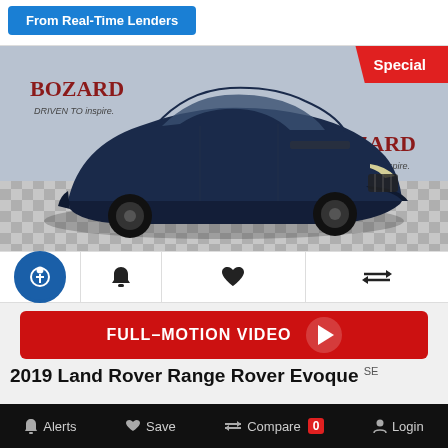[Figure (infographic): Blue button with text 'From Real-Time Lenders']
[Figure (photo): 2019 Land Rover Range Rover Evoque SE in dark blue, photographed in a Bozard dealership showroom with checkered floor. Red 'Special' badge in top right corner.]
[Figure (infographic): Icon row: accessibility icon circle, bell icon, heart icon, compare arrows icon]
[Figure (infographic): Red button labeled FULL-MOTION VIDEO with play triangle icon]
2019 Land Rover Range Rover Evoque SE
Alerts  Save  Compare 0  Login